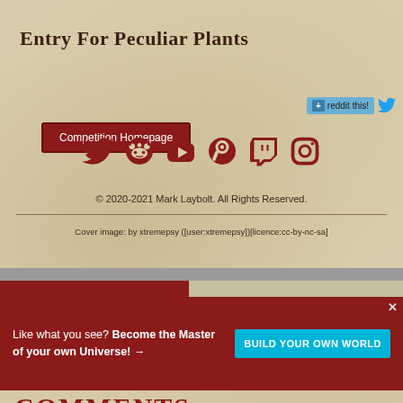Entry for Peculiar Plants
Competition Homepage
[Figure (screenshot): Reddit share button with '+' icon and 'reddit this!' text, followed by a Twitter bird icon]
[Figure (screenshot): Row of social media icons: Twitter, Reddit, YouTube, Steam, Twitch, Instagram — all in dark red color]
© 2020-2021 Mark Laybolt. All Rights Reserved.
Cover image: by xtremepsy ([user:xtremepsy])[licence:cc-by-nc-sa]
Like what you see? Become the Master of your own Universe! →
BUILD YOUR OWN WORLD
COMMENTS